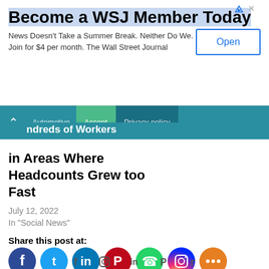[Figure (other): WSJ advertisement banner with title 'Become a WSJ Member Today', body text, and Open button]
Automotive | Accept | Privacy policy
in Areas Where Headcounts Grew too Fast
July 12, 2022
In "Social News"
Share this post at:
[Figure (other): Social sharing icons: Facebook, Twitter, LinkedIn, Pinterest, WhatsApp, Instagram, Share]
Footer social icons: Facebook, Instagram, LinkedIn, Pinterest, Twitter